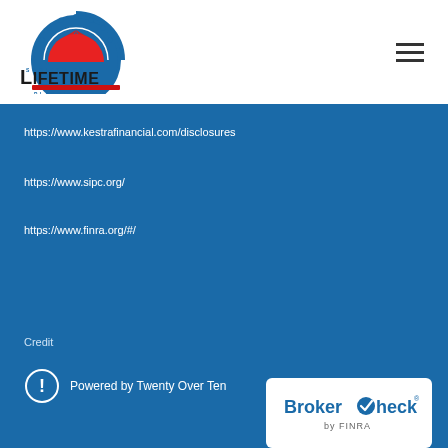[Figure (logo): Society for Lifetime Planning logo with gear/sun emblem and text]
https://www.kestrafinancial.com/disclosures
https://www.sipc.org/
https://www.finra.org/#/
Credit
Powered by Twenty Over Ten
[Figure (logo): BrokerCheck by FINRA logo in white box]